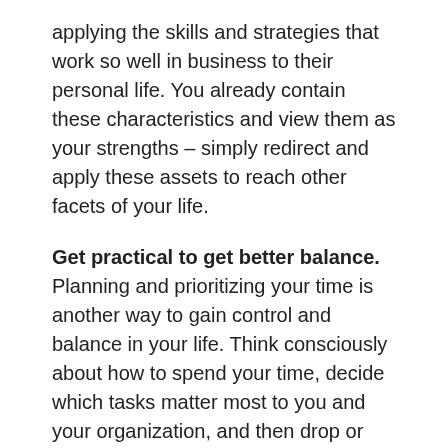applying the skills and strategies that work so well in business to their personal life. You already contain these characteristics and view them as your strengths – simply redirect and apply these assets to reach other facets of your life.
Get practical to get better balance. Planning and prioritizing your time is another way to gain control and balance in your life. Think consciously about how to spend your time, decide which tasks matter most to you and your organization, and then drop or outsource the rest. By doing this, you can reduce your involvement in low-value tasks. You can actually cut your desk work by an average of six hours a week, shave meeting time by an average of two hours a week, and free up nearly a fifth of your time (an average of one full day a week). By doing this, you make more time for what matters in your life. Imagine you had one full day a week to fill as